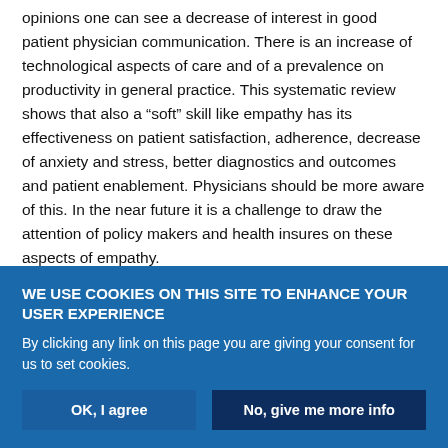opinions one can see a decrease of interest in good patient physician communication. There is an increase of technological aspects of care and of a prevalence on productivity in general practice. This systematic review shows that also a "soft" skill like empathy has its effectiveness on patient satisfaction, adherence, decrease of anxiety and stress, better diagnostics and outcomes and patient enablement. Physicians should be more aware of this. In the near future it is a challenge to draw the attention of policy makers and health insures on these aspects of empathy.

Competency can be subdivided into empathic skill, a communication skill, and the skill to build up a relationship with a patient based on
WE USE COOKIES ON THIS SITE TO ENHANCE YOUR USER EXPERIENCE
By clicking any link on this page you are giving your consent for us to set cookies.
OK, I agree
No, give me more info